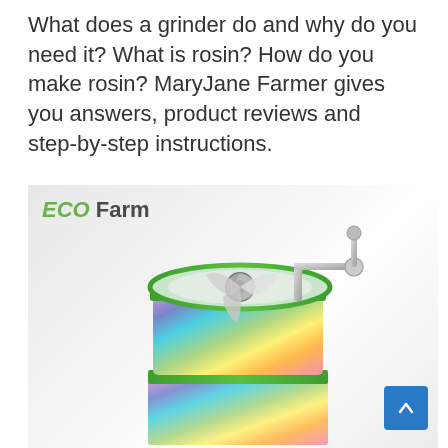What does a grinder do and why do you need it? What is rosin? How do you make rosin? MaryJane Farmer gives you answers, product reviews and step-by-step instructions.
[Figure (photo): ECO Farm branded product image showing a rainbow/iridescent colored herb grinder with a hand crank mechanism on top, viewed from above at an angle. The grinder has multiple sections and the top is transparent showing grinding teeth. The image has a light grey diagonal stripe background.]